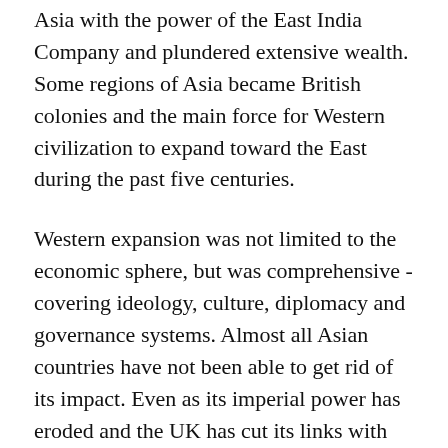Asia with the power of the East India Company and plundered extensive wealth. Some regions of Asia became British colonies and the main force for Western civilization to expand toward the East during the past five centuries.
Western expansion was not limited to the economic sphere, but was comprehensive - covering ideology, culture, diplomacy and governance systems. Almost all Asian countries have not been able to get rid of its impact. Even as its imperial power has eroded and the UK has cut its links with the European integration process, Britain's impact on Asia is still ubiquitous.
Until today, the looming ethnic conflicts and border disputes in Asian countries are still closely related to British or European colonial rule. More importantly